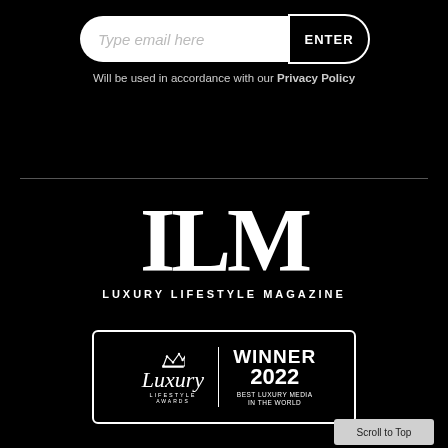[Figure (screenshot): Email subscription input bar with placeholder text 'Type email here' and an ENTER button]
Will be used in accordance with our Privacy Policy
[Figure (logo): ILM Luxury Lifestyle Magazine logo with large serif letters ILM and subtitle text]
[Figure (logo): Luxury Lifestyle Awards badge: WINNER 2022 BEST LUXURY MEDIA IN THE WORLD]
Scroll to Top